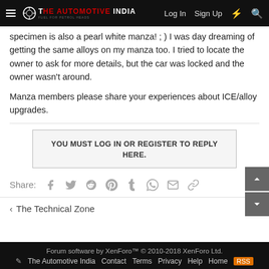The Automotive India — Log In  Sign Up
specimen is also a pearl white manza! ; ) I was day dreaming of getting the same alloys on my manza too. I tried to locate the owner to ask for more details, but the car was locked and the owner wasn't around.
Manza members please share your experiences about ICE/alloy upgrades.
YOU MUST LOG IN OR REGISTER TO REPLY HERE.
Share:
The Technical Zone
Forum software by XenForo™ © 2010-2018 XenForo Ltd.  The Automotive India  Contact  Terms  Privacy  Help  Home